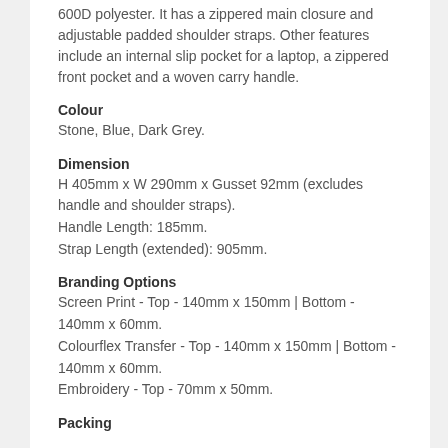600D polyester. It has a zippered main closure and adjustable padded shoulder straps. Other features include an internal slip pocket for a laptop, a zippered front pocket and a woven carry handle.
Colour
Stone, Blue, Dark Grey.
Dimension
H 405mm x W 290mm x Gusset 92mm (excludes handle and shoulder straps).
Handle Length: 185mm.
Strap Length (extended): 905mm.
Branding Options
Screen Print - Top - 140mm x 150mm | Bottom - 140mm x 60mm.
Colourflex Transfer - Top - 140mm x 150mm | Bottom - 140mm x 60mm.
Embroidery - Top - 70mm x 50mm.
Packing